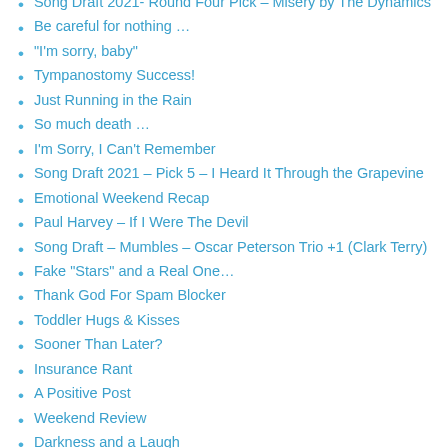Song Draft 2021- Round Four Pick – Misery by The Dynamics
Be careful for nothing …
“I’m sorry, baby”
Tympanostomy Success!
Just Running in the Rain
So much death …
I’m Sorry, I Can’t Remember
Song Draft 2021 – Pick 5 – I Heard It Through the Grapevine
Emotional Weekend Recap
Paul Harvey – If I Were The Devil
Song Draft – Mumbles – Oscar Peterson Trio +1 (Clark Terry)
Fake “Stars” and a Real One…
Thank God For Spam Blocker
Toddler Hugs & Kisses
Sooner Than Later?
Insurance Rant
A Positive Post
Weekend Review
Darkness and a Laugh
Has it really been 40 years?!